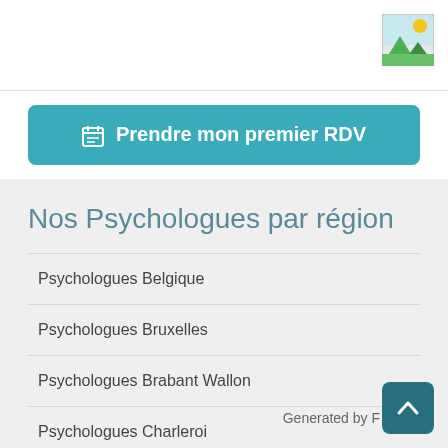[Figure (illustration): Landscape photo placeholder icon with sun and mountains]
Prendre mon premier RDV
Nos Psychologues par région
Psychologues Belgique
Psychologues Bruxelles
Psychologues Brabant Wallon
Psychologues Charleroi
Psychologues Hainaut
Generated by F…